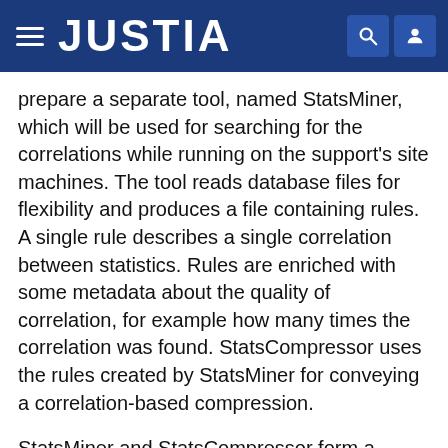JUSTIA
prepare a separate tool, named StatsMiner, which will be used for searching for the correlations while running on the support's site machines. The tool reads database files for flexibility and produces a file containing rules. A single rule describes a single correlation between statistics. Rules are enriched with some metadata about the quality of correlation, for example how many times the correlation was found. StatsCompressor uses the rules created by StatsMiner for conveying a correlation-based compression.
StatsMiner and StatsCompressor form a distributed compression-model, presented in FIG. 16. The figure shows a consecutive operations that should be conveyed to download statistics from a customer, compressed with the usage of the designed software.